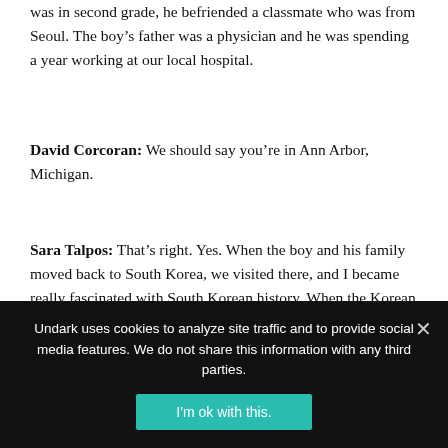was in second grade, he befriended a classmate who was from Seoul. The boy’s father was a physician and he was spending a year working at our local hospital.
David Corcoran: We should say you’re in Ann Arbor, Michigan.
Sara Talpos: That’s right. Yes. When the boy and his family moved back to South Korea, we visited there, and I became really fascinated with South Korean history. When the Korean War ceasefire was declared in 1953, the country was totally devastated
Undark uses cookies to analyze site traffic and to provide social media features. We do not share this information with any third parties.